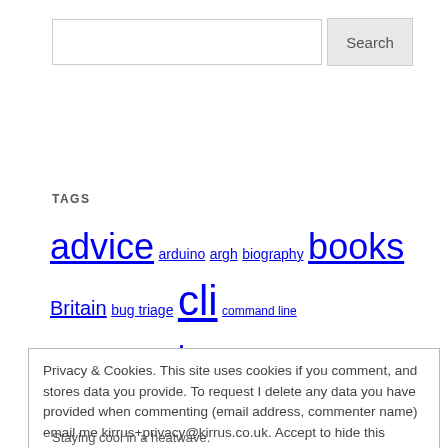[Figure (screenshot): Search input box and Search button]
TAGS
advice arduino argh biography books Britain bug triage cli command line computers computing debian firefox gaming hardware Internet Linux london madness magento malware microsoft mind-dump MySQL NaBloPoMo night nothing Photography privacy rant Raspberry Pi Reading servers
Privacy & Cookies. This site uses cookies if you comment, and stores data you provide. To request I delete any data you have provided when commenting (email address, commenter name) email me kirrus+privacy@kirrus.co.uk. Accept to hide this warning. Privacy Policy: Cookie Policy
Close and accept
Staying cool in a heatwave.